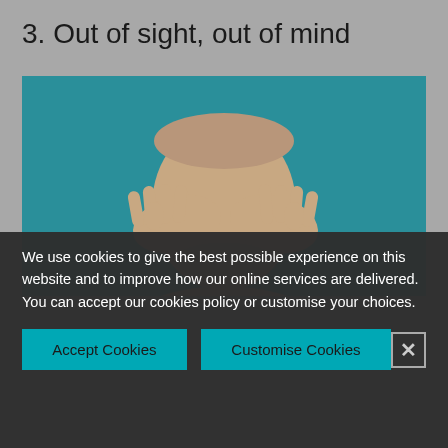3. Out of sight, out of mind
[Figure (photo): A bald man covering his eyes with both hands against a teal background]
We use cookies to give the best possible experience on this website and to improve how our online services are delivered. You can accept our cookies policy or customise your choices.
Accept Cookies
Customise Cookies